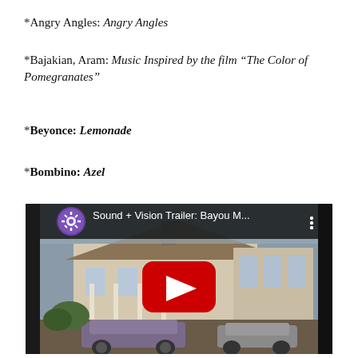*Angry Angles: Angry Angles
*Bajakian, Aram: Music Inspired by the film “The Color of Pomegranates”
*Beyonce: Lemonade
*Bombino: Azel
[Figure (screenshot): YouTube video thumbnail showing Sound + Vision Trailer: Bayou M... with a play button overlay, depicting a vintage house and cars on a street.]